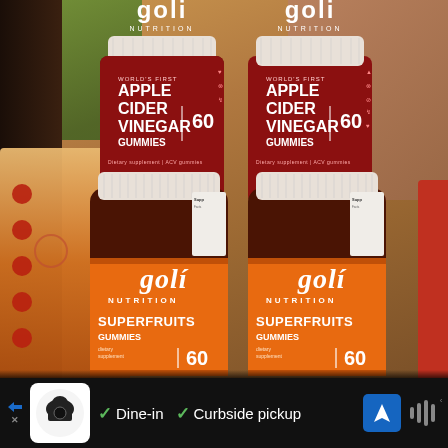[Figure (photo): Four bottles of Goli Nutrition gummies arranged in two pairs. Top two bottles are Apple Cider Vinegar Gummies (red/dark maroon label, 60 count). Bottom two bottles are Superfruits Gummies (orange label, 60 count). Bottles are placed on a kitchen surface with papers and a plant visible in the background.]
Dine-in  Curbside pickup